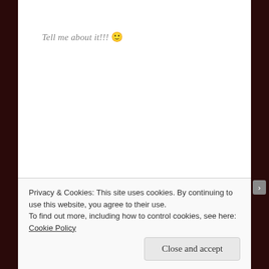Tell me about it!!! 🙂
Reply
[Figure (photo): Circular avatar photo of commenter Reema, showing a person at a beach]
Reema
APRIL 4, 2009 AT 6:10 PM
Privacy & Cookies: This site uses cookies. By continuing to use this website, you agree to their use.
To find out more, including how to control cookies, see here: Cookie Policy
Close and accept